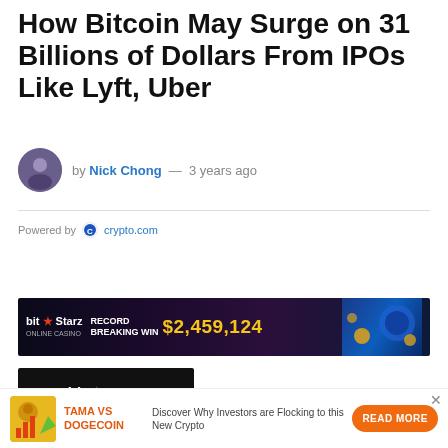How Bitcoin May Surge on 31 Billions of Dollars From IPOs Like Lyft, Uber
by Nick Chong — 3 years ago
Powered by crypto.com
[Figure (photo): BitStarz casino advertisement banner showing record breaking win of $2,459,124]
[Figure (photo): BitStarz casino logo on black background]
[Figure (infographic): TAMA VS DOGECOIN promotional ad with bear mascot and bar chart, text: Discover Why Investors are Flocking to this New Crypto, READ MORE button]